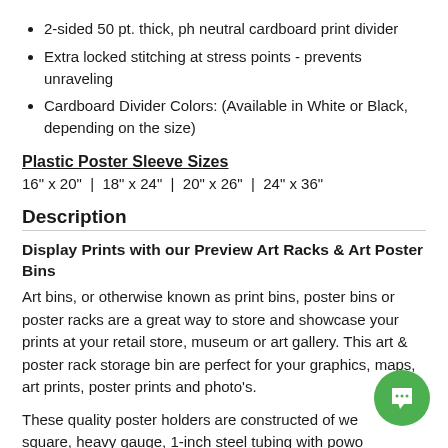2-sided 50 pt. thick, ph neutral cardboard print divider
Extra locked stitching at stress points - prevents unraveling
Cardboard Divider Colors: (Available in White or Black, depending on the size)
Plastic Poster Sleeve Sizes
16" x 20" | 18" x 24" | 20" x 26" | 24" x 36"
Description
Display Prints with our Preview Art Racks & Art Poster Bins
Art bins, or otherwise known as print bins, poster bins or poster racks are a great way to store and showcase your prints at your retail store, museum or art gallery. This art & poster rack storage bin are perfect for your graphics, maps, art prints, poster prints and photo's.
These quality poster holders are constructed of we square, heavy gauge, 1-inch steel tubing with powo coated, scratch-resistant paint.